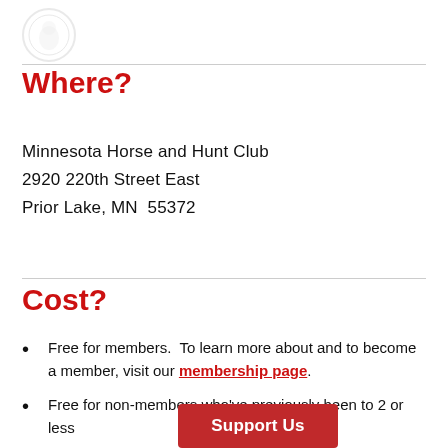[Figure (logo): Circular logo/seal in light gray (watermark style)]
Where?
Minnesota Horse and Hunt Club
2920 220th Street East
Prior Lake, MN  55372
Cost?
Free for members.  To learn more about and to become a member, visit our membership page.
Free for non-members who've previously been to 2 or less ...
[Figure (other): Support Us button (red background, white text)]